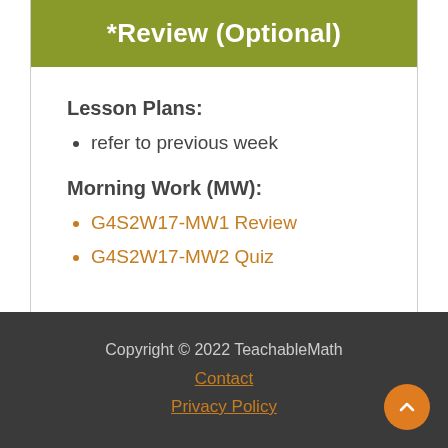*Review (Optional)
Lesson Plans:
refer to previous week
Morning Work (MW):
G4S2W17-MW1 Review
G4S2W17-MW2 Quiz
Copyright © 2022 TeachableMath
Contact
Privacy Policy